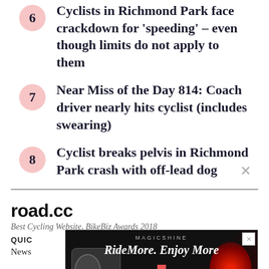6 Cyclists in Richmond Park face crackdown for 'speeding' – even though limits do not apply to them
7 Near Miss of the Day 814: Coach driver nearly hits cyclist (includes swearing)
8 Cyclist breaks pelvis in Richmond Park crash with off-lead dog
road.cc
Best Cycling Website, BikeBiz Awards 2018
QUIC
News
[Figure (photo): Advertisement banner for Magicshine: RideMore. Enjoy More – showing a bicycle light product on a dark background with red lighting]